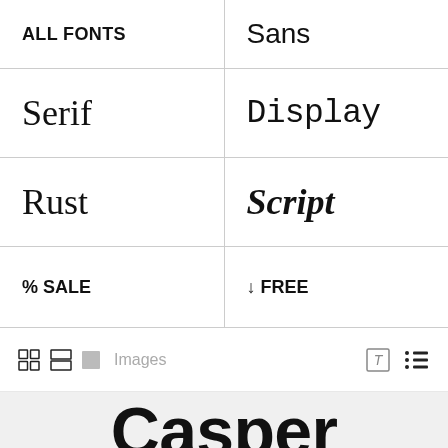| Category | Type |
| --- | --- |
| ALL FONTS | Sans |
| Serif | Display |
| Rust | Script |
| % SALE | ↓ FREE |
[Figure (screenshot): Toolbar with grid/list view icons, Images label, and text/list icons on the right]
Casper